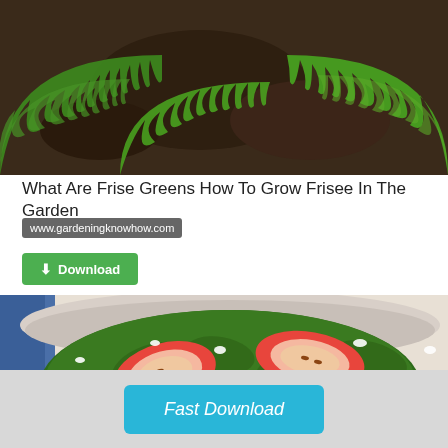[Figure (photo): Frisee/frise greens growing in garden soil — leafy green curly plants overhead view]
What Are Frise Greens How To Grow Frisee In The Garden
www.gardeningknowhow.com
[Figure (other): Green download button with download icon and text Download]
[Figure (photo): Salad bowl with kale, apple slices, nuts, and white cheese crumbles]
[Figure (other): Fast Download button in light blue/cyan color]